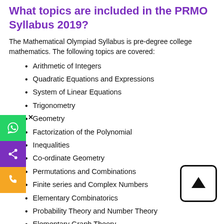What topics are included in the PRMO Syllabus 2019?
The Mathematical Olympiad Syllabus is pre-degree college mathematics. The following topics are covered:
Arithmetic of Integers
Quadratic Equations and Expressions
System of Linear Equations
Trigonometry
Geometry
Factorization of the Polynomial
Inequalities
Co-ordinate Geometry
Permutations and Combinations
Finite series and Complex Numbers
Elementary Combinatorics
Probability Theory and Number Theory
Elementary Graph Theory
What are the best books to study for the